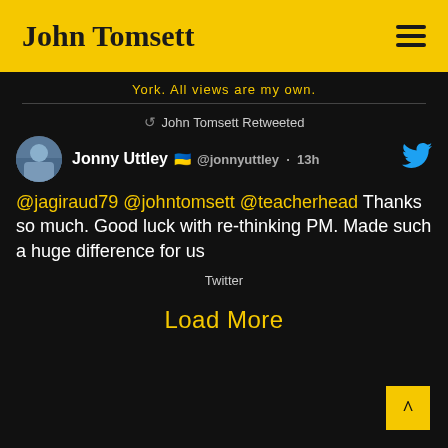John Tomsett
York. All views are my own.
John Tomsett Retweeted
Jonny Uttley 🇺🇦 @jonnyuttley · 13h
@jagiraud79 @johntomsett @teacherhead Thanks so much. Good luck with re-thinking PM. Made such a huge difference for us
Twitter
Load More